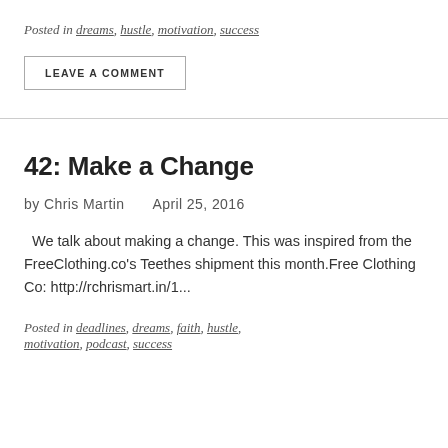Posted in dreams, hustle, motivation, success
LEAVE A COMMENT
42: Make a Change
by Chris Martin   April 25, 2016
We talk about making a change. This was inspired from the FreeClothing.co's Teethes shipment this month.Free Clothing Co: http://rchrismart.in/1...
Posted in deadlines, dreams, faith, hustle, motivation, podcast, success